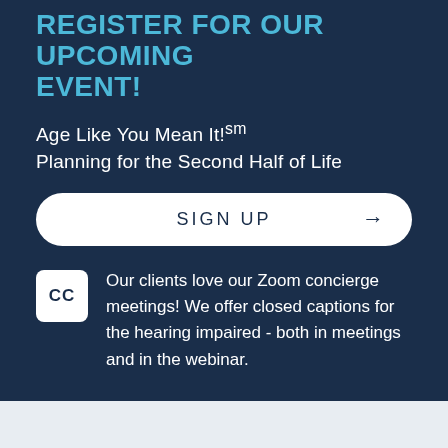REGISTER FOR OUR UPCOMING EVENT!
Age Like You Mean It! sm
Planning for the Second Half of Life
SIGN UP →
Our clients love our Zoom concierge meetings! We offer closed captions for the hearing impaired - both in meetings and in the webinar.
[Figure (photo): Two copies of a book titled 'You're not Alone - Living as an...' shown overlapping, one rotated slightly, with a green header band and dark blue/white cover design.]